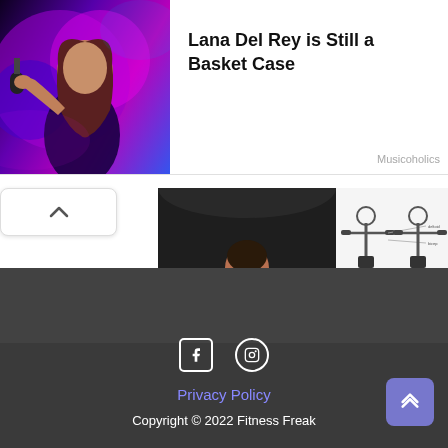[Figure (photo): Woman with dark hair singing into a microphone against a purple/pink neon-lit background]
Lana Del Rey is Still a Basket Case
Musicoholics
[Figure (photo): Muscular man in gym holding a large dumbbell, doing a curl exercise]
[Figure (illustration): Workout diagram showing dumbbell exercises with anatomical muscle illustrations]
Privacy Policy
Copyright © 2022 Fitness Freak